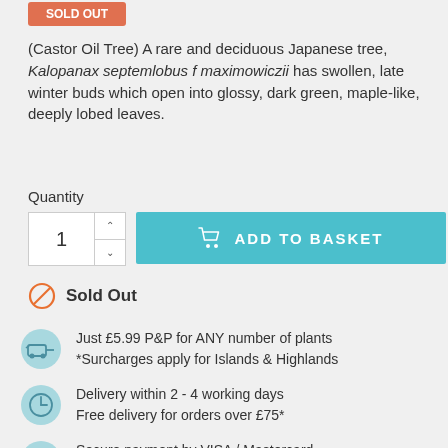(Castor Oil Tree) A rare and deciduous Japanese tree, Kalopanax septemlobus f maximowiczii has swollen, late winter buds which open into glossy, dark green, maple-like, deeply lobed leaves.
Quantity
1
ADD TO BASKET
Sold Out
Just £5.99 P&P for ANY number of plants
*Surcharges apply for Islands & Highlands
Delivery within 2 - 4 working days
Free delivery for orders over £75*
Secure payment by VISA / Mastercard
You can also order by calling our office on 01530 413700